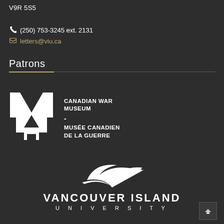V9R 5S5
📞 (250) 753-3245 ext. 2131
✉ letters@viu.ca
Patrons
[Figure (logo): Canadian War Museum logo — stylized white M/building shape icon with text: CANADIAN WAR MUSEUM - MUSÉE CANADIEN DE LA GUERRE]
[Figure (logo): Vancouver Island University logo — white leaf/bird graphic above text VANCOUVER ISLAND UNIVERSITY]